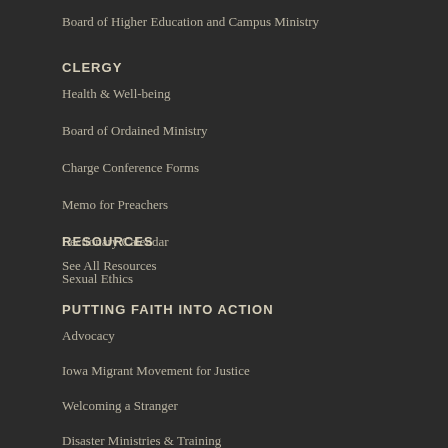Board of Higher Education and Campus Ministry
CLERGY
Health & Well-being
Board of Ordained Ministry
Charge Conference Forms
Memo for Preachers
Lectionary Calendar
Sexual Ethics
RESOURCES
See All Resources
PUTTING FAITH INTO ACTION
Advocacy
Iowa Migrant Movement for Justice
Welcoming a Stranger
Disaster Ministries & Training
Volunteers in Mission
Nomads
Mobile United Methodist Missionaries